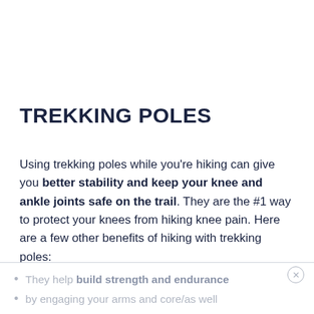TREKKING POLES
Using trekking poles while you're hiking can give you better stability and keep your knee and ankle joints safe on the trail. They are the #1 way to protect your knees from hiking knee pain. Here are a few other benefits of hiking with trekking poles:
They help build strength and endurance
by engaging your arms and core/as well